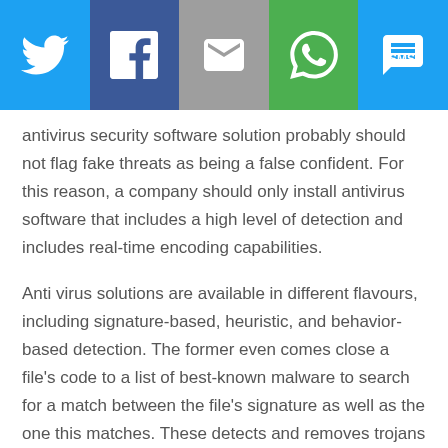[Figure (infographic): Social share bar with five buttons: Twitter (blue bird icon), Facebook (dark blue f icon), Email (grey envelope icon), WhatsApp (green phone icon), SMS (blue SMS icon)]
antivirus security software solution probably should not flag fake threats as being a false confident. For this reason, a company should only install antivirus software that includes a high level of detection and includes real-time encoding capabilities.
Anti virus solutions are available in different flavours, including signature-based, heuristic, and behavior-based detection. The former even comes close a file's code to a list of best-known malware to search for a match between the file's signature as well as the one this matches. These detects and removes trojans without requiring any user interaction. Although signature-based recognition has which may right here always be the most effective behavioral detection can be for…